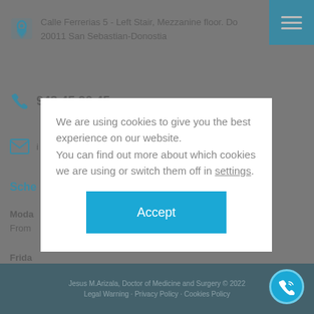Calle Ferrerias 5 - Left Stair, Mezzanine floor. Do
20011 San Sebastian-Donostia
943 45 90 45
i
Sche
Moda
From
Frida
From
We are using cookies to give you the best experience on our website.
You can find out more about which cookies we are using or switch them off in settings.
Accept
Jesus M.Arizala, Doctor of Medicine and Surgery © 2022
Legal Warning · Privacy Policy · Cookies Policy